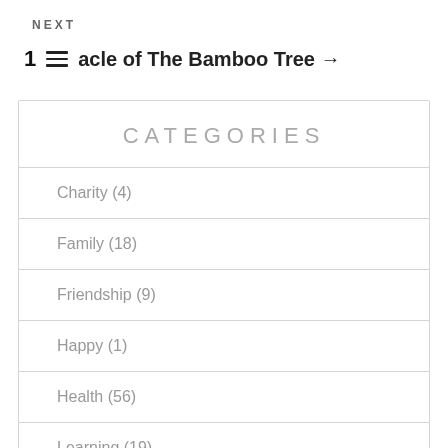NEXT
1   acle of The Bamboo Tree →
CATEGORIES
Charity (4)
Family (18)
Friendship (9)
Happy (1)
Health (56)
Learning (19)